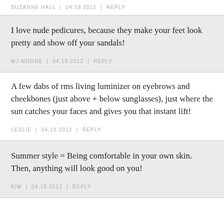SUZANNE HALL | 04.18.2012 | REPLY
I love nude pedicures, because they make your feet look pretty and show off your sandals!
MJ MOORE | 04.18.2012 | REPLY
A few dabs of rms living luminizer on eyebrows and cheekbones (just above + below sunglasses), just where the sun catches your faces and gives you that instant lift!
LESLIE | 04.18.2012 | REPLY
Summer style = Being comfortable in your own skin. Then, anything will look good on you!
KIM | 04.18.2012 | REPLY